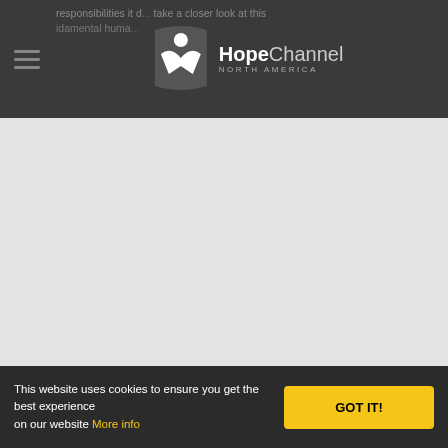Hope Channel North America — website header with navigation
responsibilities it d... take a closer look at this ...idamental huma...
[Figure (logo): Hope Channel North America logo with stylized figure icon and text 'HopeChannel NORTH AMERICA']
[Figure (screenshot): Large light gray content area placeholder (video or content embed area)]
Support
This website uses cookies to ensure you get the best experience on our website More info
GOT IT!